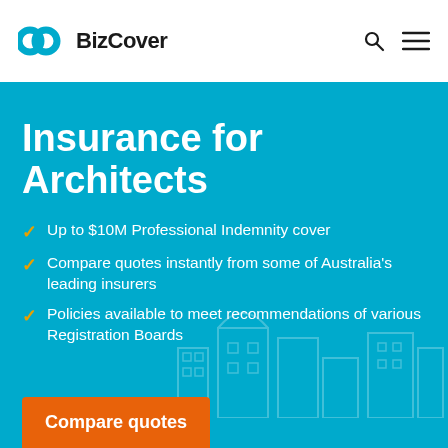BizCover
Insurance for Architects
Up to $10M Professional Indemnity cover
Compare quotes instantly from some of Australia's leading insurers
Policies available to meet recommendations of various Registration Boards
Compare quotes